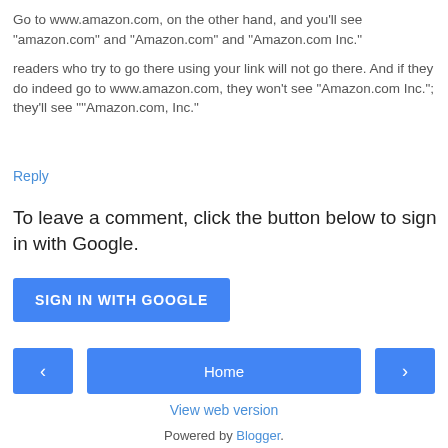Go to www.amazon.com, on the other hand, and you'll see "amazon.com" and "Amazon.com" and "Amazon.com Inc."
readers who try to go there using your link will not go there. And if they do indeed go to www.amazon.com, they won't see "Amazon.com Inc."; they'll see ""Amazon.com, Inc."
Reply
To leave a comment, click the button below to sign in with Google.
SIGN IN WITH GOOGLE
Home
View web version
Powered by Blogger.